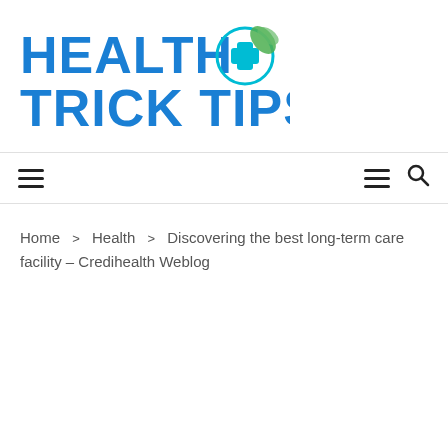[Figure (logo): Health Trick Tips logo — bold blue text 'HEALTH TRICK TIPS' with a teal medical cross and leaf icon]
≡  ≡ 🔍
Home > Health > Discovering the best long-term care facility – Credihealth Weblog